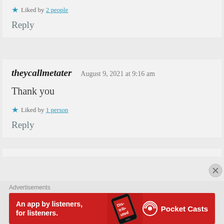★ Liked by 2 people
Reply
theycallmetater  August 9, 2021 at 9:16 am
Thank you
★ Liked by 1 person
Reply
Advertisements
[Figure (other): Pocket Casts advertisement banner: red background with text 'An app by listeners, for listeners.' and Pocket Casts logo, with an image of a phone showing 'Distributed']